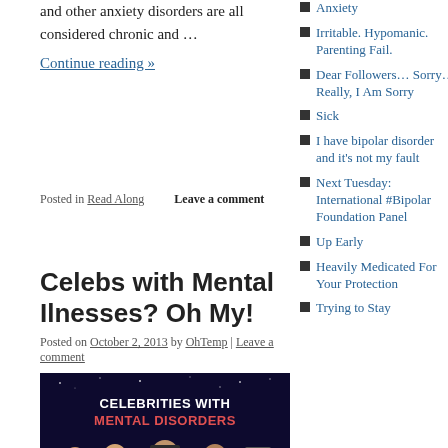and other anxiety disorders are all considered chronic and …
Continue reading »
Posted in Read Along   Leave a comment
Celebs with Mental Ilnesses? Oh My!
Posted on October 2, 2013 by OhTemp | Leave a comment
[Figure (photo): Celebrities with Mental Disorders promo image with cartoon-style illustrations of celebrities on a dark blue background]
Anxiety
Irritable. Hypomanic. Parenting Fail.
Dear Followers… Sorry…Really, I Am Sorry
Sick
I have bipolar disorder and it's not my fault
Next Tuesday: International #Bipolar Foundation Panel
Up Early
Heavily Medicated For Your Protection
Trying to Stay
affiliation with, or love of The Bipolar Blogger Network?
[Figure (photo): The Bipolar Blogger Network logo/book cover image with dark red and teal background and white script text]
<a href="https:/
[Figure (illustration): Green circular logo partially visible with italic white text 'hea C']